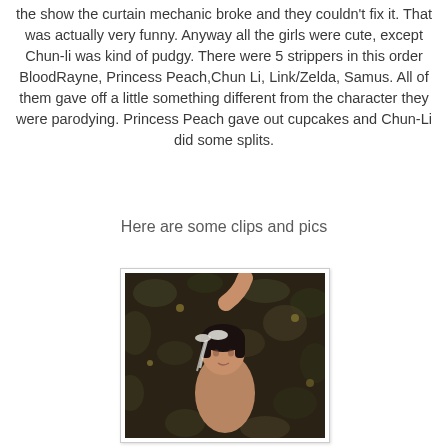the show the curtain mechanic broke and they couldn't fix it. That was actually very funny. Anyway all the girls were cute, except Chun-li was kind of pudgy. There were 5 strippers in this order BloodRayne, Princess Peach,Chun Li, Link/Zelda, Samus. All of them gave off a little something different from the character they were parodying. Princess Peach gave out cupcakes and Chun-Li did some splits.
Here are some clips and pics
[Figure (photo): A photo of a person with dark hair and a white hair accessory, arm raised, against a dark floral background]